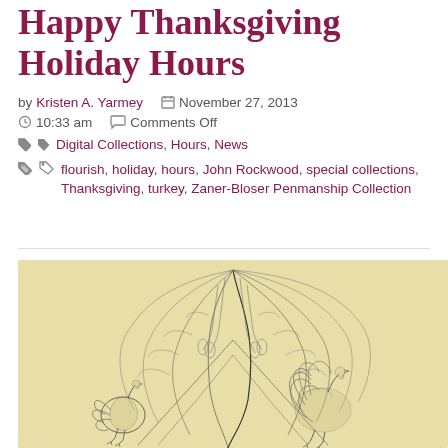Happy Thanksgiving Holiday Hours
by Kristen A. Yarmey  📅 November 27, 2013
🕐 10:33 am  💬 Comments Off
🔖 Digital Collections, Hours, News
🏷 flourish, holiday, hours, John Rockwood, special collections, Thanksgiving, turkey, Zaner-Bloser Penmanship Collection
[Figure (illustration): Vintage pen-and-ink illustration of two turkeys with elaborate feather flourishes on a yellowed background, from the Zaner-Bloser Penmanship Collection]